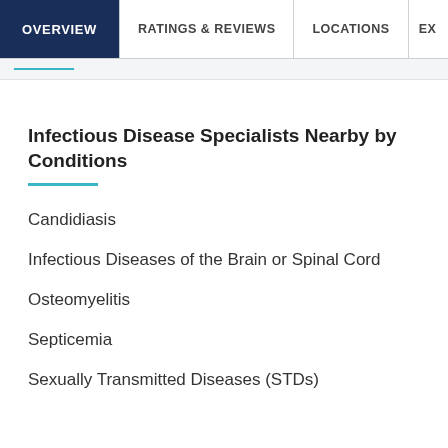OVERVIEW | RATINGS & REVIEWS | LOCATIONS | EX
Infectious Disease Specialists Nearby by Conditions
Candidiasis
Infectious Diseases of the Brain or Spinal Cord
Osteomyelitis
Septicemia
Sexually Transmitted Diseases (STDs)